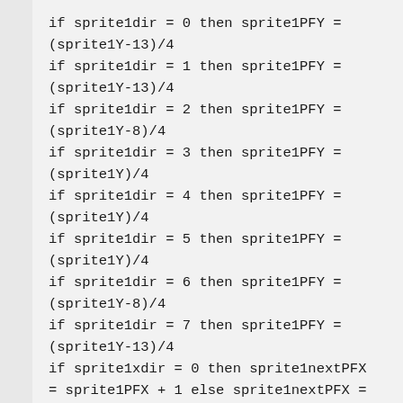if sprite1dir = 0 then sprite1PFY = (sprite1Y-13)/4
if sprite1dir = 1 then sprite1PFY = (sprite1Y-13)/4
if sprite1dir = 2 then sprite1PFY = (sprite1Y-8)/4
if sprite1dir = 3 then sprite1PFY = (sprite1Y)/4
if sprite1dir = 4 then sprite1PFY = (sprite1Y)/4
if sprite1dir = 5 then sprite1PFY = (sprite1Y)/4
if sprite1dir = 6 then sprite1PFY = (sprite1Y-8)/4
if sprite1dir = 7 then sprite1PFY = (sprite1Y-13)/4
if sprite1xdir = 0 then sprite1nextPFX = sprite1PFX + 1 else sprite1nextPFX =